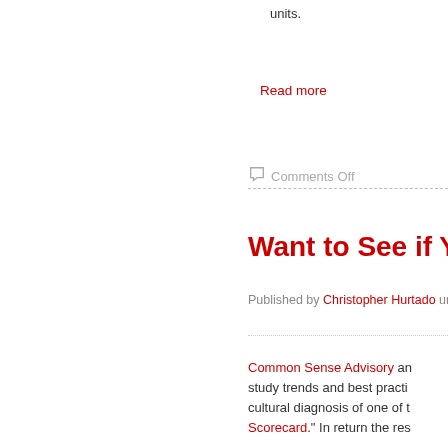units.
Read more
Comments Off
Want to See if Your Int
Published by Christopher Hurtado unde
Common Sense Advisory an study trends and best practi cultural diagnosis of one of t Scorecard." In return the res
What does the assessment d site based on a theoretically- that account for similarities a description of the Cultural Sc
We invite marketing executi service providers and softwa